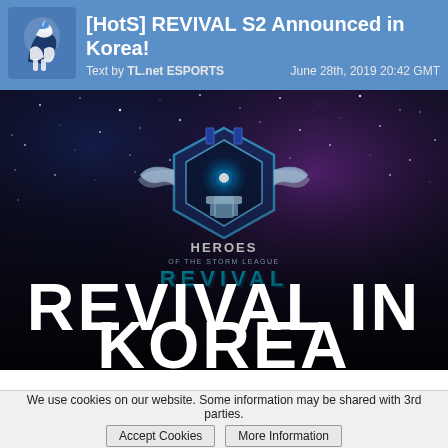[HotS] REVIVAL S2 Announced in Korea! Text by TL.net ESPORTS  June 28th, 2019 20:42 GMT
[Figure (screenshot): Heroes of the Storm League Revival promotional image with logo (winged badge with glowing blue orb), text 'HEROES OF THE STORM LEAGUE' and 'REVIVAL' on a dark starry purple/blue background, with large white bold text 'REVIVAL IN KOREA' overlaid]
We use cookies on our website. Some information may be shared with 3rd parties. Accept Cookies  More Information